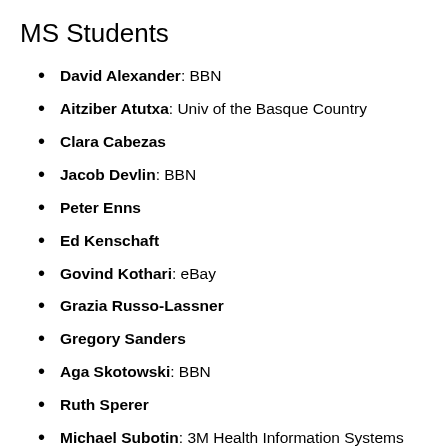MS Students
David Alexander: BBN
Aitziber Atutxa: Univ of the Basque Country
Clara Cabezas
Jacob Devlin: BBN
Peter Enns
Ed Kenschaft
Govind Kothari: eBay
Grazia Russo-Lassner
Gregory Sanders
Aga Skotowski: BBN
Ruth Sperer
Michael Subotin: 3M Health Information Systems
Ka Wu: Google